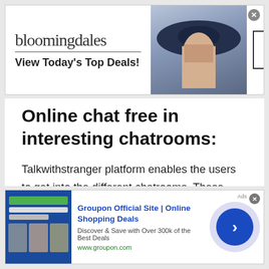[Figure (screenshot): Bloomingdale's advertisement banner: logo text 'bloomingdales', tagline 'View Today's Top Deals!', woman in hat image, 'SHOP NOW >' button]
Online chat free in interesting chatrooms:
Talkwithstranger platform enables the users to get into the different chatrooms. These chatrooms cater to the needs of the people. As mentioned earlier, man is a social animal. They need someone so that they can talk their heart out. At talkwithstranger , you can chat with people of Ecuador from anywhere in the world.
[Figure (screenshot): Groupon advertisement banner: 'Groupon Official Site | Online Shopping Deals', 'Discover & Save with Over 300k of the Best Deals', 'www.groupon.com', with navigation arrow button]